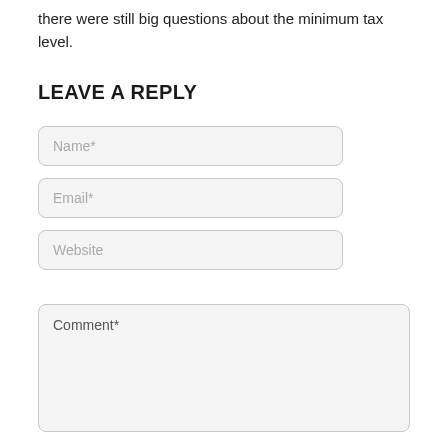there were still big questions about the minimum tax level.
LEAVE A REPLY
[Figure (screenshot): Web form with input fields for Name*, Email*, Website, and a textarea for Comment*]